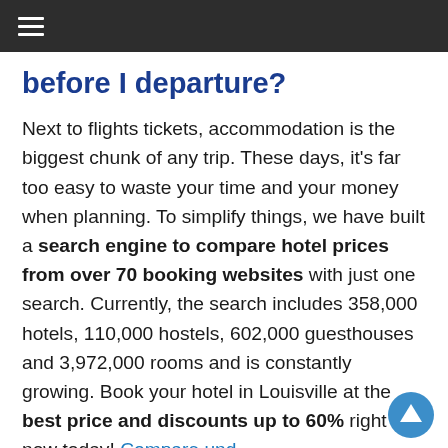≡ (navigation menu)
before I departure?
Next to flights tickets, accommodation is the biggest chunk of any trip. These days, it's far too easy to waste your time and your money when planning. To simplify things, we have built a search engine to compare hotel prices from over 70 booking websites with just one search. Currently, the search includes 358,000 hotels, 110,000 hostels, 602,000 guesthouses and 3,972,000 rooms and is constantly growing. Book your hotel in Louisville at the best price and discounts up to 60% right now today! Compare und ...